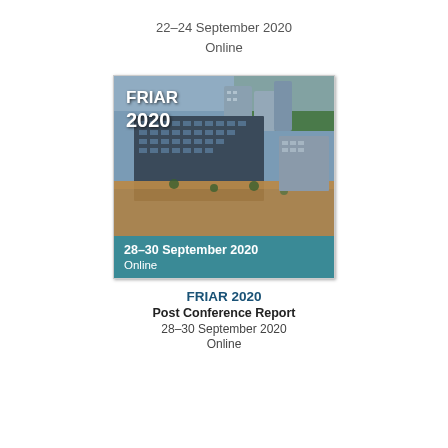22–24 September 2020
Online
[Figure (photo): Aerial photograph of flooded urban buildings (conference venue context) with FRIAR 2020 text overlay and a teal banner reading '28–30 September 2020 / Online']
FRIAR 2020
Post Conference Report
28–30 September 2020
Online